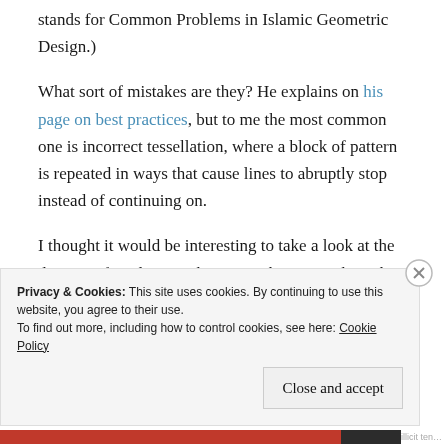stands for Common Problems in Islamic Geometric Design.)
What sort of mistakes are they? He explains on his page on best practices, but to me the most common one is incorrect tessellation, where a block of pattern is repeated in ways that cause lines to abruptly stop instead of continuing on.
I thought it would be interesting to take a look at the designs I found in Azerbaijan, in the cases where they
Privacy & Cookies: This site uses cookies. By continuing to use this website, you agree to their use. To find out more, including how to control cookies, see here: Cookie Policy
Close and accept